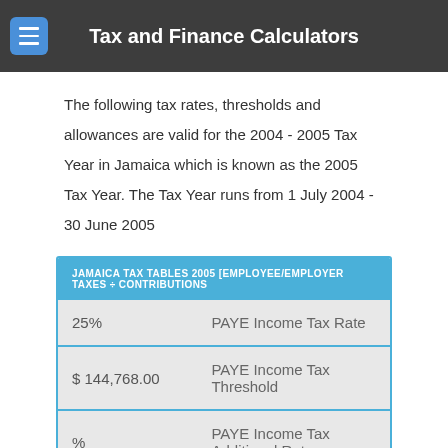Tax and Finance Calculators
The following tax rates, thresholds and allowances are valid for the 2004 - 2005 Tax Year in Jamaica which is known as the 2005 Tax Year. The Tax Year runs from 1 July 2004 - 30 June 2005
| Value | Description |
| --- | --- |
| 25% | PAYE Income Tax Rate |
| $ 144,768.00 | PAYE Income Tax Threshold |
| % | PAYE Income Tax Additional Rate |
| $0.00 | PAYE Income Tax Additional |